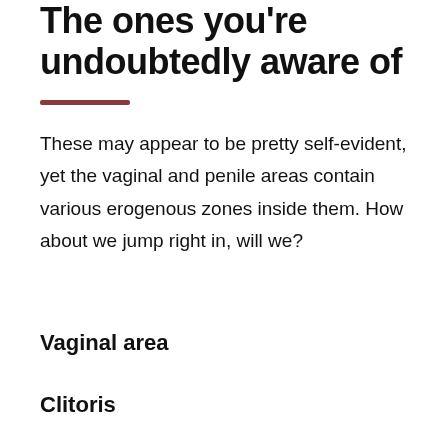The ones you're undoubtedly aware of
These may appear to be pretty self-evident, yet the vaginal and penile areas contain various erogenous zones inside them. How about we jump right in, will we?
Vaginal area
Clitoris